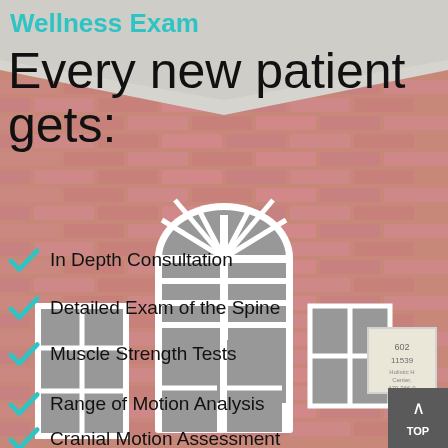[Figure (photo): Background photo of a brick building facade with an arched window, serving as the background for the wellness exam promotional infographic.]
Wellness Exam
Every new patient gets:
In Depth Consultation
Detailed Exam of the Spine
Muscle Strength Tests
Range of Motion Analysis
Cranial Motion Assessment